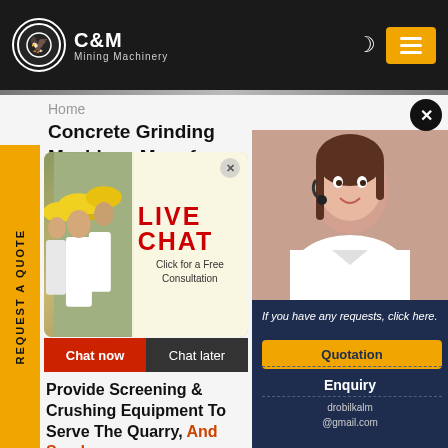[Figure (logo): C&M Mining Machinery logo with eagle icon in circle, white text on dark background]
Home
Concrete Grinding Machines Manuf
[Figure (photo): Live chat popup with workers in hard hats, LIVE CHAT heading in red, Click for a Free Consultation text, Chat now and Chat later buttons]
CR
WASHING
Provide Screening & Crushing Equipment To Serve The Quarry, Construction, Recycling, Mining, And Sand & Gravel Industries
If you have any requests, click here.
Quotation
Enquiry
drobilkalm@gmail.com